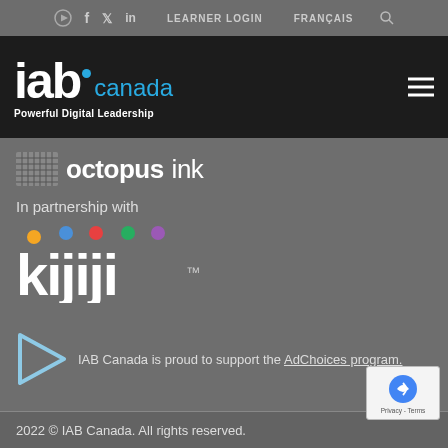LEARNER LOGIN   FRANÇAIS
[Figure (logo): IAB Canada logo with blue dot, white IAB letters, blue canada text, and tagline Powerful Digital Leadership on dark background]
[Figure (logo): Octopus Ink logo with pixel/grid icon and bold octopus + light ink text]
In partnership with
[Figure (logo): Kijiji logo with coloured dots above letters k i j i j i in white on grey background]
IAB Canada is proud to support the AdChoices program.
2022 © IAB Canada. All rights reserved.